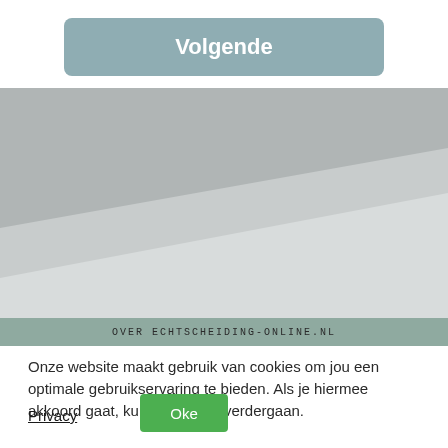[Figure (screenshot): A light blue-grey rounded button labeled 'Volgende' (Dutch for 'Next') in white bold text]
[Figure (illustration): A large grey geometric background image with a diagonal lighter stripe across the lower half, forming a website background design element]
OVER ECHTSCHEIDING-ONLINE.NL
Onze website maakt gebruik van cookies om jou een optimale gebruikservaring te bieden. Als je hiermee akkoord gaat, kun je gewoon verdergaan.
Privacy
Oke